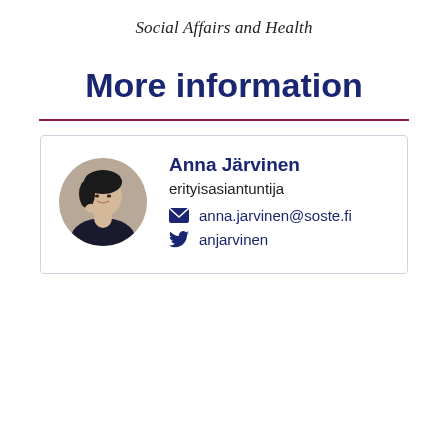Social Affairs and Health
More information
Anna Järvinen
erityisasiantuntija
anna.jarvinen@soste.fi
anjarvinen